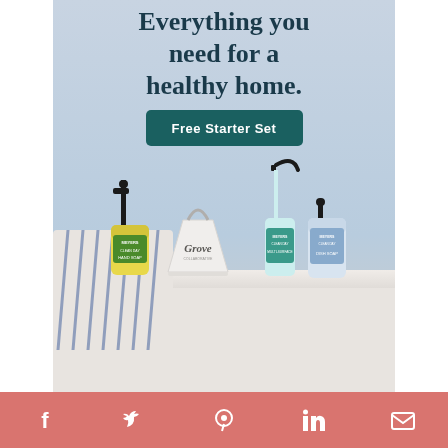[Figure (photo): Advertisement for Grove Collaborative featuring Mrs. Meyer's cleaning products. Text reads 'Everything you need for a healthy home.' with a 'Free Starter Set' button. Shows a white Grove-branded bucket/caddy, Mrs. Meyer's hand soap (yellow), multi-surface spray (teal), and dish soap (light blue/lavender) on a white shelf with a striped cloth. Light blue background.]
Free Starter Set
[Figure (other): Social sharing bar with icons for Facebook, Twitter, Pinterest, LinkedIn, and Email on a salmon/dusty rose background.]